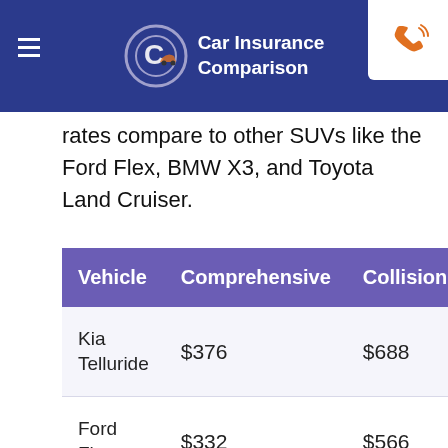Car Insurance Comparison
rates compare to other SUVs like the Ford Flex, BMW X3, and Toyota Land Cruiser.
| Vehicle | Comprehensive | Collision | Lia |
| --- | --- | --- | --- |
| Kia Telluride | $376 | $688 | $3 |
| Ford Flex | $332 | $566 | $35 |
| BMW X3 | $376 | $656 | $37 |
| Toyota Land | $420 | $774 | $35 |